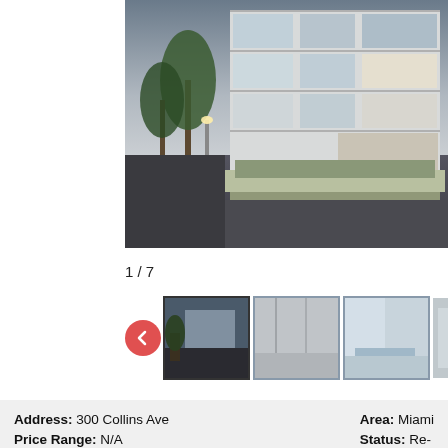[Figure (photo): Exterior rendering of a modern multi-story luxury condominium building at dusk, with illuminated balconies, palm trees, and landscaped planters in front. Glass-facade balconies and decorative lattice panels visible.]
1 / 7
[Figure (photo): Thumbnail gallery row: first thumbnail shows exterior night view of the building; second thumbnail shows interior hallway or lobby; third thumbnail shows rooftop pool or terrace; fourth thumbnail is partially cropped.]
Address: 300 Collins Ave
Price Range: N/A
Developer: JMH Development
Bedrooms: 1 - 4
Floors: 5
Area: Miami
Status: Re-